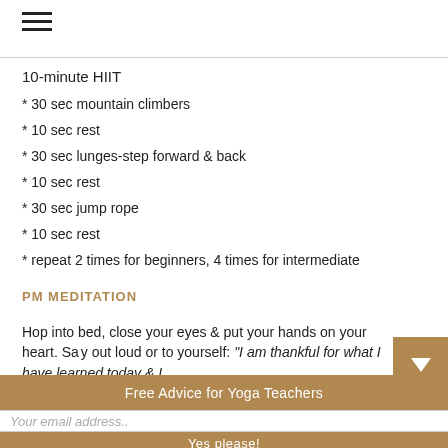☰
10-minute HIIT
* 30 sec mountain climbers
* 10 sec rest
* 30 sec lunges-step forward & back
* 10 sec rest
* 30 sec jump rope
* 10 sec rest
* repeat 2 times for beginners, 4 times for intermediate
PM MEDITATION
Hop into bed, close your eyes & put your hands on your heart. Sa… loud or to yourself: "I am thankful for what I have learned today & I…
Free Advice for Yoga Teachers
Your email address..
Yes please!